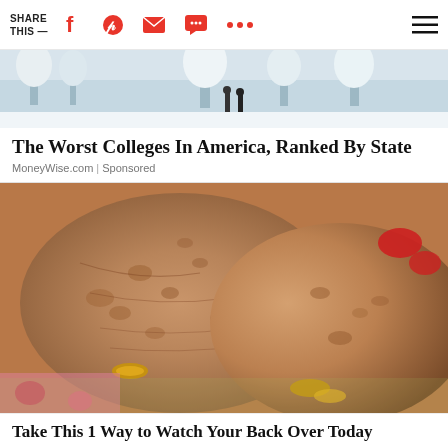SHARE THIS —
[Figure (photo): Winter scene with two people standing in snow under trees, used as thumbnail for an advertisement]
The Worst Colleges In America, Ranked By State
MoneyWise.com | Sponsored
[Figure (photo): Close-up photograph of two elderly hands clasped together, one wearing a gold ring, with floral fabric visible in background]
Take This 1 Way to Watch Your Back Over Today